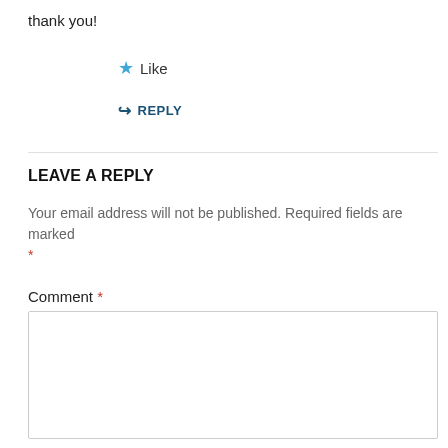thank you!
★ Like
↪ REPLY
LEAVE A REPLY
Your email address will not be published. Required fields are marked *
Comment *